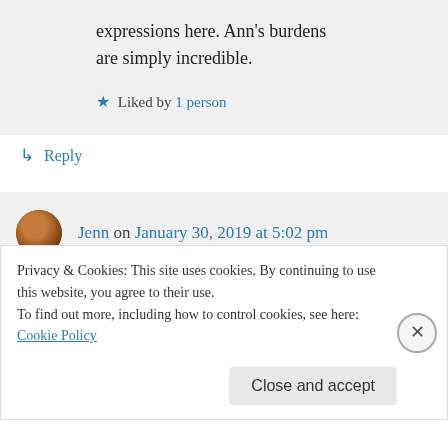expressions here. Ann's burdens are simply incredible.
Liked by 1 person
Reply
Jenn on January 30, 2019 at 5:02 pm
Dear Rich,
I am acutely familiar with the indescribable
Privacy & Cookies: This site uses cookies. By continuing to use this website, you agree to their use. To find out more, including how to control cookies, see here: Cookie Policy
Close and accept